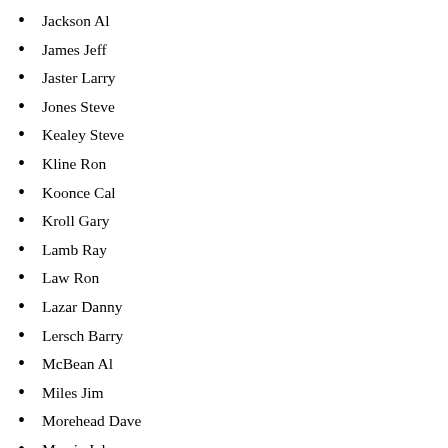Jackson Al
James Jeff
Jaster Larry
Jones Steve
Kealey Steve
Kline Ron
Koonce Cal
Kroll Gary
Lamb Ray
Law Ron
Lazar Danny
Lersch Barry
McBean Al
Miles Jim
Morehead Dave
Morris John
Nottebart Don
Nye Rich
O'Riley Don